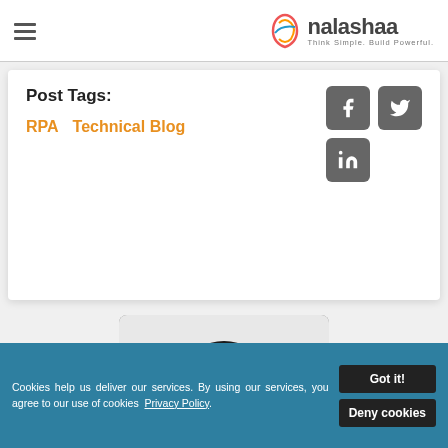nalashaa — Think Simple. Build Powerful.
Post Tags:
RPA
Technical Blog
[Figure (illustration): Facebook, Twitter, and LinkedIn social share icons (dark grey rounded squares)]
[Figure (photo): Portrait photo of a smiling young man with dark curly hair and mustache, wearing a black top]
Cookies help us deliver our services. By using our services, you agree to our use of cookies Privacy Policy